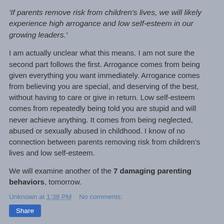'If parents remove risk from children's lives, we will likely experience high arrogance and low self-esteem in our growing leaders.'
I am actually unclear what this means. I am not sure the second part follows the first. Arrogance comes from being given everything you want immediately. Arrogance comes from believing you are special, and deserving of the best, without having to care or give in return. Low self-esteem comes from repeatedly being told you are stupid and will never achieve anything. It comes from being neglected, abused or sexually abused in childhood. I know of no connection between parents removing risk from children's lives and low self-esteem.
We will examine another of the 7 damaging parenting behaviors, tomorrow.
Unknown at 1:38 PM    No comments:
Share